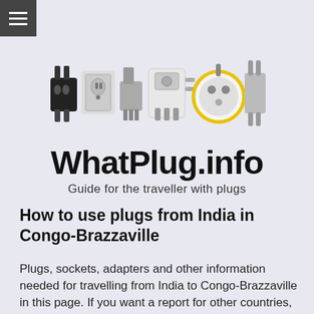[Figure (illustration): Collection of various electrical plugs, sockets and adapters arranged in a row on a light background - logo image for WhatPlug.info]
WhatPlug.info
Guide for the traveller with plugs
How to use plugs from India in Congo-Brazzaville
Plugs, sockets, adapters and other information needed for travelling from India to Congo-Brazzaville in this page. If you want a report for other countries, re-start the wizard to find to electric adapters for your trip here.